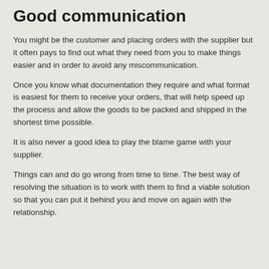Good communication
You might be the customer and placing orders with the supplier but it often pays to find out what they need from you to make things easier and in order to avoid any miscommunication.
Once you know what documentation they require and what format is easiest for them to receive your orders, that will help speed up the process and allow the goods to be packed and shipped in the shortest time possible.
It is also never a good idea to play the blame game with your supplier.
Things can and do go wrong from time to time. The best way of resolving the situation is to work with them to find a viable solution so that you can put it behind you and move on again with the relationship.